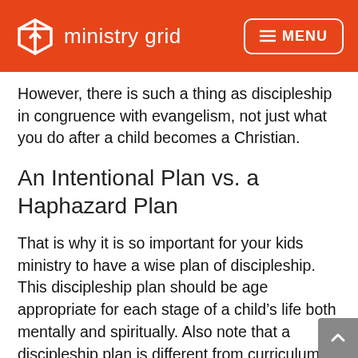ministry grid  MENU
However, there is such a thing as discipleship in congruence with evangelism, not just what you do after a child becomes a Christian.
An Intentional Plan vs. a Haphazard Plan
That is why it is so important for your kids ministry to have a wise plan of discipleship. This discipleship plan should be age appropriate for each stage of a child’s life both mentally and spiritually. Also note that a discipleship plan is different from curriculum. Before you select a curriculum, it’s necessary to have a roadmap for where you are going. That would be a discipleship plan.